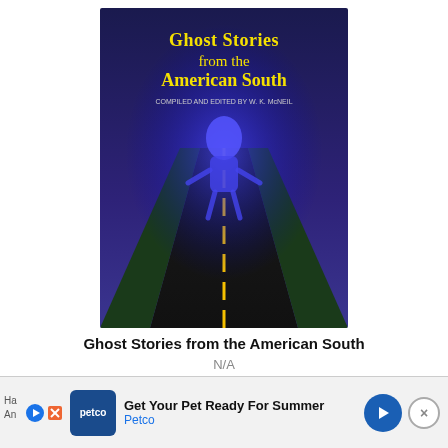[Figure (illustration): Book cover of 'Ghost Stories from the American South' – dark blue/purple background with a glowing blue figure of a person walking down a long highway road with a yellow center line, green road edges, yellow title text at top.]
Ghost Stories from the American South
N/A
[Figure (illustration): Book cover of 'Haunted Route 66' by Richard Southall – vintage desert scene with a red classic car, Route 66 shield sign, a woman in red dress glowing in headlights, sandy/orange tones.]
[Figure (advertisement): Petco advertisement banner: 'Get Your Pet Ready For Summer' with Petco logo, blue navigation arrow icon, and close (X) button.]